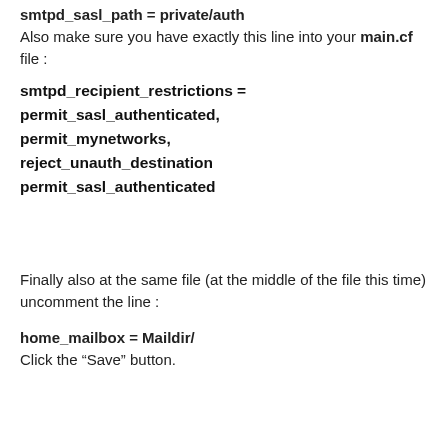smtpd_sasl_path = private/auth Also make sure you have exactly this line into your main.cf file :
smtpd_recipient_restrictions = permit_sasl_authenticated, permit_mynetworks, reject_unauth_destination permit_sasl_authenticated
Finally also at the same file (at the middle of the file this time) uncomment the line :
home_mailbox = Maildir/ Click the “Save” button.